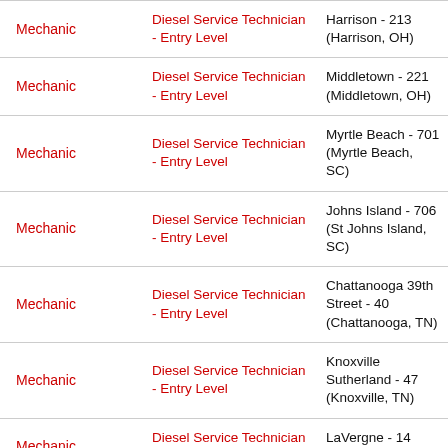| Category | Job Title | Location |
| --- | --- | --- |
| Mechanic | Diesel Service Technician - Entry Level | Harrison - 213 (Harrison, OH) |
| Mechanic | Diesel Service Technician - Entry Level | Middletown - 221 (Middletown, OH) |
| Mechanic | Diesel Service Technician - Entry Level | Myrtle Beach - 701 (Myrtle Beach, SC) |
| Mechanic | Diesel Service Technician - Entry Level | Johns Island - 706 (St Johns Island, SC) |
| Mechanic | Diesel Service Technician - Entry Level | Chattanooga 39th Street - 40 (Chattanooga, TN) |
| Mechanic | Diesel Service Technician - Entry Level | Knoxville Sutherland - 47 (Knoxville, TN) |
| Mechanic | Diesel Service Technician - Entry Level | LaVergne - 14 (LaVergne, TN) |